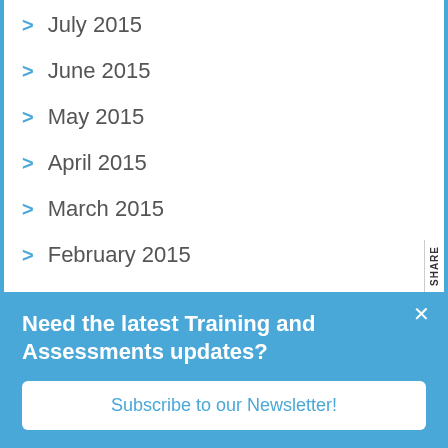July 2015
June 2015
May 2015
April 2015
March 2015
February 2015
January 2015
December 2014
November 2014
October 2014
September 2014
Need the latest Training and Assessments updates?
Subscribe to our Newsletter!